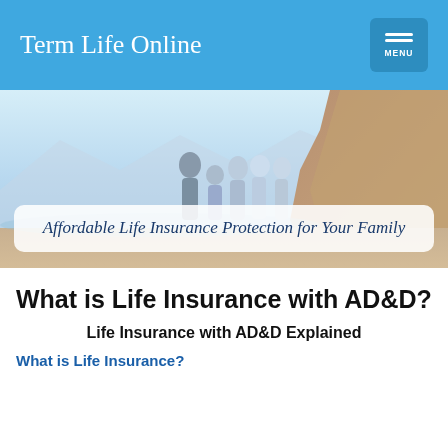Term Life Online
[Figure (photo): Family of adults standing on a beach with mountains/cliffs in the background, sunny coastal scene.]
Affordable Life Insurance Protection for Your Family
What is Life Insurance with AD&D?
Life Insurance with AD&D Explained
What is Life Insurance?